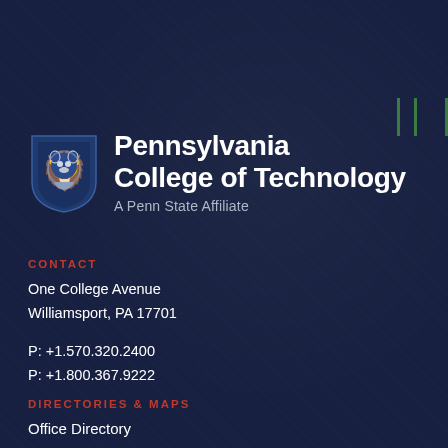[Figure (logo): Pennsylvania College of Technology logo with Penn State Nittany Lion shield and text 'Pennsylvania College of Technology, A Penn State Affiliate']
CONTACT
One College Avenue
Williamsport, PA 17701
P: +1.570.320.2400
P: +1.800.367.9222
DIRECTORIES & MAPS
Office Directory